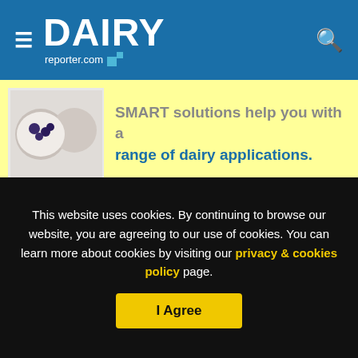DAIRY reporter.com
[Figure (infographic): Yellow advertisement banner with food/dairy product image and partial text: SMART solutions help you with a range of dairy applications.]
The review examined whether the introduction of the Marketing in Australia of Infant Formulas (MAIF) Agreement affected the advertising strategies employed to market breast-milk substitutes (BMS), such as infant, follow-on and growing-up formula, in the country.
This website uses cookies. By continuing to browse our website, you are agreeing to our use of cookies. You can learn more about cookies by visiting our privacy & cookies policy page.